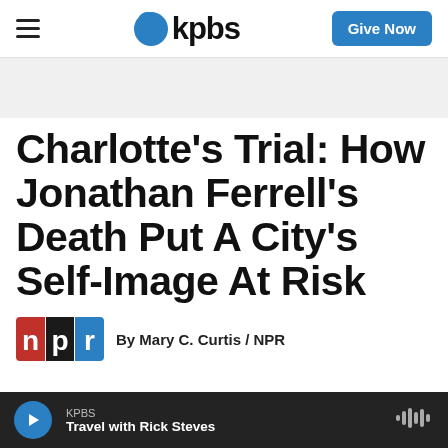KPBS — Give Now
[Figure (logo): KPBS logo with blue speech bubble icon and bold kpbs text]
Charlotte's Trial: How Jonathan Ferrell's Death Put A City's Self-Image At Risk
By Mary C. Curtis / NPR
[Figure (logo): NPR logo with red n, black p, blue r tiles]
KPBS — Travel with Rick Steves (audio player bar)